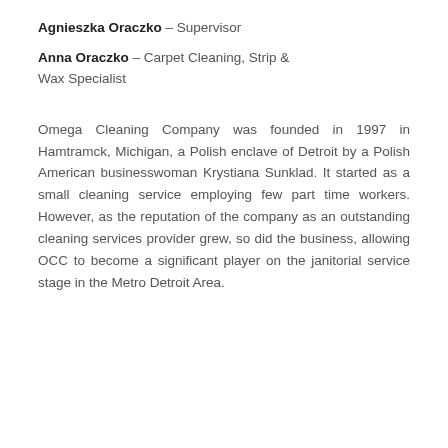Agnieszka Oraczko – Supervisor
Anna Oraczko – Carpet Cleaning, Strip & Wax Specialist
Omega Cleaning Company was founded in 1997 in Hamtramck, Michigan, a Polish enclave of Detroit by a Polish American businesswoman Krystiana Sunklad. It started as a small cleaning service employing few part time workers. However, as the reputation of the company as an outstanding cleaning services provider grew, so did the business, allowing OCC to become a significant player on the janitorial service stage in the Metro Detroit Area.